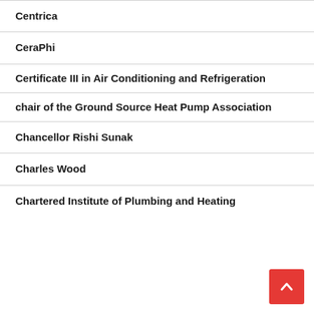Centrica
CeraPhi
Certificate III in Air Conditioning and Refrigeration
chair of the Ground Source Heat Pump Association
Chancellor Rishi Sunak
Charles Wood
Chartered Institute of Plumbing and Heating